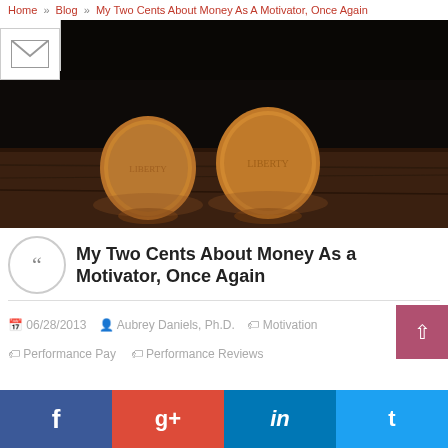Home » Blog » My Two Cents About Money As A Motivator, Once Again
[Figure (photo): Two copper pennies standing upright on a dark wooden surface with a dark background, lit dramatically]
My Two Cents About Money As a Motivator, Once Again
06/28/2013  Aubrey Daniels, Ph.D.  Motivation  Performance Pay  Performance Reviews
[Figure (infographic): Social sharing bar with Facebook, Google+, LinkedIn, and Twitter buttons]